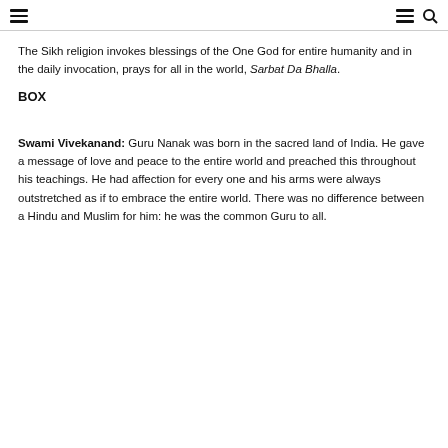[hamburger menu icon] [hamburger menu icon] [search icon]
The Sikh religion invokes blessings of the One God for entire humanity and in the daily invocation, prays for all in the world, Sarbat Da Bhalla.
BOX
Swami Vivekanand: Guru Nanak was born in the sacred land of India. He gave a message of love and peace to the entire world and preached this throughout his teachings. He had affection for every one and his arms were always outstretched as if to embrace the entire world. There was no difference between a Hindu and Muslim for him: he was the common Guru to all.